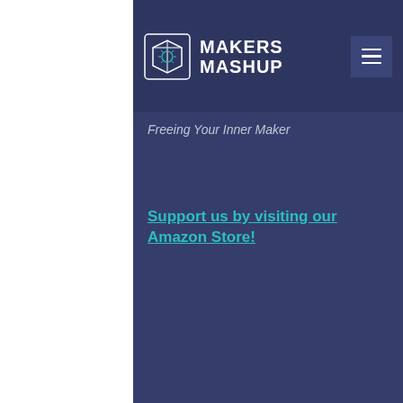[Figure (screenshot): Makers Mashup website header with logo, hamburger menu, tagline 'Freeing Your Inner Maker', Amazon store link, and a user profile section showing avatar 'D', Follow button, username 'D bal crazy bulk side effects,...', and '0 Followers • 0 Following'.]